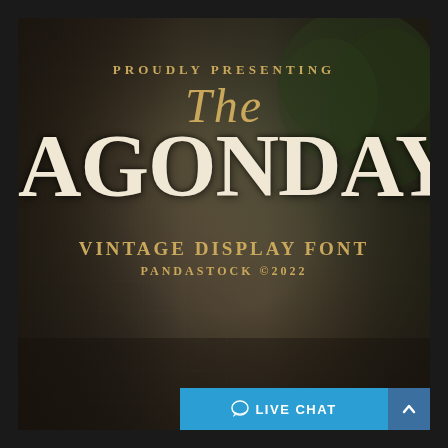[Figure (illustration): Vintage font promotional image with dark sepia-toned background showing stone wall texture and foliage. Large decorative serif text 'DRAGONDAY' partially cropped, with script 'The' above. Gold/cream color scheme.]
PROUDLY PRESENTING
The
DRAGONDAY
VINTAGE DISPLAY FONT
PANDASTOCK ©2022
LIVE CHAT